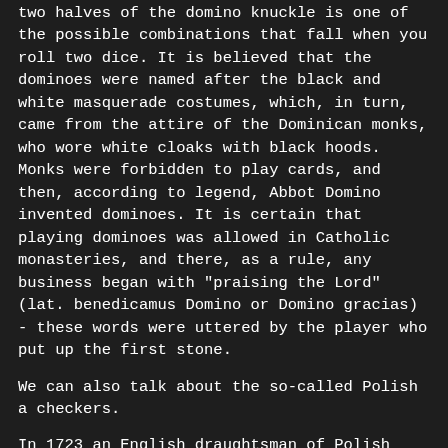two halves of the domino knuckle is one of the possible combinations that fall when you roll two dice. It is believed that the dominoes were named after the black and white masquerade costumes, which, in turn, came from the attire of the Dominican monks, who wore white cloaks with black hoods. Monks were forbidden to play cards, and then, according to legend, Abbot Domino invented dominoes. It is certain that playing dominoes was allowed in Catholic monasteries, and there, as a rule, any business began with "praising the Lord" (lat. benedicamus Domino or Domino gracias) - these words were uttered by the player who put up the first stone.
We can also talk about the so-called Polish a checkers.
In 1723 an English draughtsman of Polish origin, who remained in the history under the nickname "Pole", offered to increase the checkerboard up to 100 cells and slightly change the rules of the game - there appeared a hundred-square (Polish) a checkers. The wide dissemination and lack of differences in the rules of the game made this variant of a checkers international.